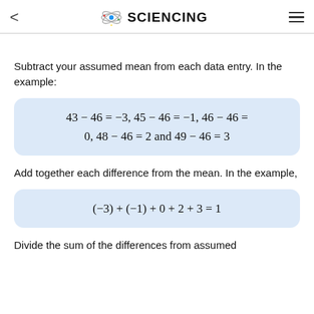SCIENCING
Subtract your assumed mean from each data entry. In the example:
Add together each difference from the mean. In the example,
Divide the sum of the differences from assumed